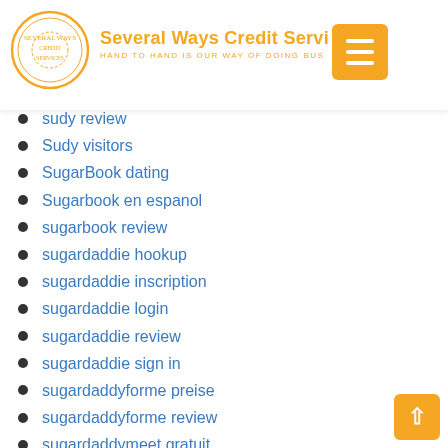Several Ways Credit Services — HAND TO HAND IS OUR WAY OF DOING BUSINESS
sudy review
Sudy visitors
SugarBook dating
Sugarbook en espanol
sugarbook review
sugardaddie hookup
sugardaddie inscription
sugardaddie login
sugardaddie review
sugardaddie sign in
sugardaddyforme preise
sugardaddyforme review
sugardaddymeet gratuit
sugardaddymeet search
sun payday loans
super pawn america best online payday loans
super pawn america easy payday loans
SuperiorPapers
supersinglesdating.com online-dating-site-for-free